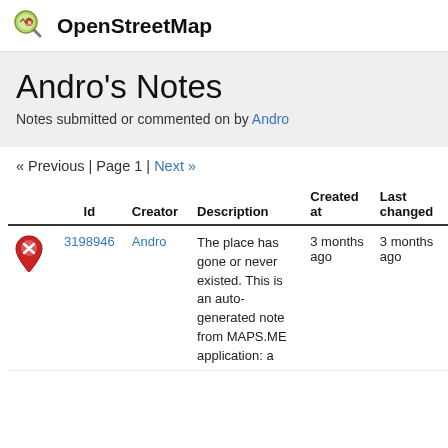OpenStreetMap
Andro's Notes
Notes submitted or commented on by Andro
« Previous | Page 1 | Next »
|  | Id | Creator | Description | Created at | Last changed |
| --- | --- | --- | --- | --- | --- |
| [map pin icon] | 3198946 | Andro | The place has gone or never existed. This is an auto-generated note from MAPS.ME application: a | 3 months ago | 3 months ago |